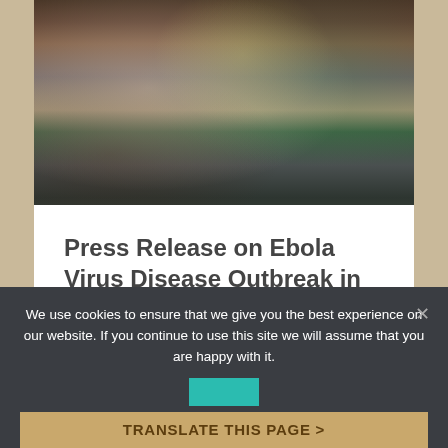[Figure (photo): Photo of people looking at an informational poster/chart about Ebola, one person wearing a health worker vest]
Press Release on Ebola Virus Disease Outbreak in the Democratic Republic of Congo (DRC)
We use cookies to ensure that we give you the best experience on our website. If you continue to use this site we will assume that you are happy with it.
TRANSLATE THIS PAGE >